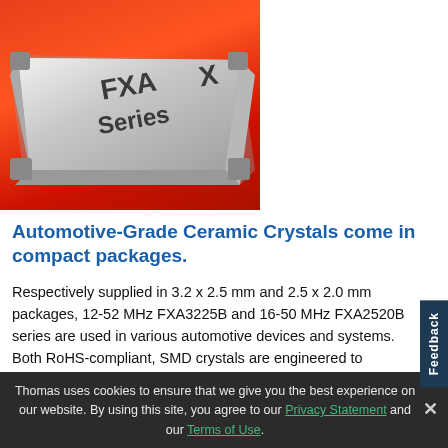[Figure (photo): Close-up photo of an automotive-grade ceramic crystal SMD component on a red/orange gradient background. The silver metallic crystal package shows 'FXA Series' text and 'X' marking on top.]
Automotive-Grade Ceramic Crystals come in compact packages.
Respectively supplied in 3.2 x 2.5 mm and 2.5 x 2.0 mm packages, 12-52 MHz FXA3225B and 16-50 MHz FXA2520B series are used in various automotive devices and systems. Both RoHS-compliant, SMD crystals are engineered to withstand shock and vibration in temperatures from -40 to +125°C and exhibit frequency stabilities from ±50 to ±100 ppm. Additional characteristics include drive level of 100
Thomas uses cookies to ensure that we give you the best experience on our website. By using this site, you agree to our Privacy Statement and our Terms of Use.